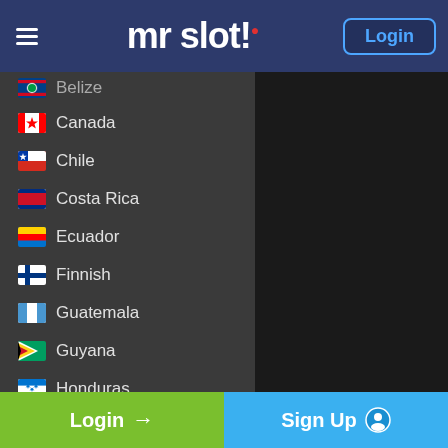mr slot! Login
Belize
Canada
Chile
Costa Rica
Ecuador
Finnish
Guatemala
Guyana
Honduras
Ireland
India
Japan
Mexico
Login → Sign Up